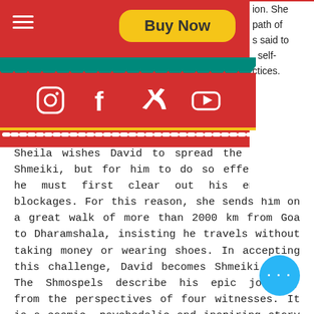[Figure (screenshot): Red header bar with hamburger menu icon, yellow 'Buy Now' button, teal zigzag border, and social media icons (Instagram, Facebook, Twitter, YouTube) in white on red background, with dotted yellow/white border at bottom.]
Sheila wishes David to spread the word of Shmeiki, but for him to do so effectively, he must first clear out his emotional blockages. For this reason, she sends him on a great walk of more than 2000 km from Goa to Dharamshala, insisting he travels without taking money or wearing shoes. In accepting this challenge, David becomes Shmeiki Baba. The Shmospels describe his epic journey, from the perspectives of four witnesses. It is a cosmic, psychedelic and inspiring story about self-acceptance, love and surrender.